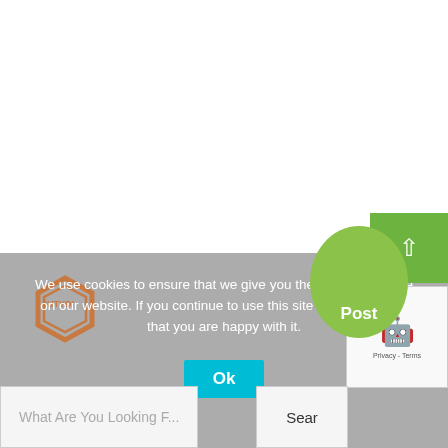[Figure (screenshot): White blank upper portion of a webpage]
We use cookies to ensure that we give you the best experience on our website. If you continue to use this site we will assume that you are happy with it.
Ok
[Figure (logo): Hexagonal logo with '4UTYDI' text in orange/brown colors]
[Figure (other): Green circular button with 'Post' text]
[Figure (other): Green square with upward arrow in top right corner]
[Figure (other): reCAPTCHA widget with robot icon and Privacy-Terms text]
What Are You Looking F...
Sear